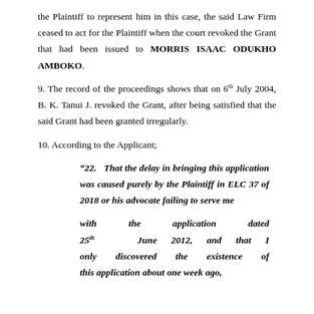the Plaintiff to represent him in this case, the said Law Firm ceased to act for the Plaintiff when the court revoked the Grant that had been issued to MORRIS ISAAC ODUKHO AMBOKO.
9. The record of the proceedings shows that on 6th July 2004, B. K. Tanui J. revoked the Grant, after being satisfied that the said Grant had been granted irregularly.
10. According to the Applicant;
“22. That the delay in bringing this application was caused purely by the Plaintiff in ELC 37 of 2018 or his advocate failing to serve me
with the application dated 25th June 2012, and that I only discovered the existence of this application about one week ago,